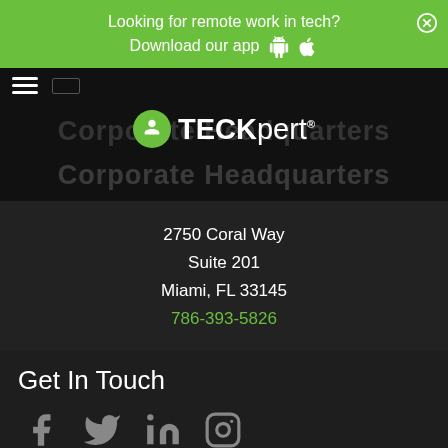Looking for remote work in tech? Download our app
[Figure (logo): TECKpert logo with green circle icon]
Corporate Headquarters
2750 Coral Way
Suite 201
Miami, FL 33145
786-393-5826
Get In Touch
[Figure (infographic): Social media icons: Facebook, Twitter, LinkedIn, Instagram]
Copyright © 2022 TECKpert LLC. All rights reserved.
Private Sector   |   Government